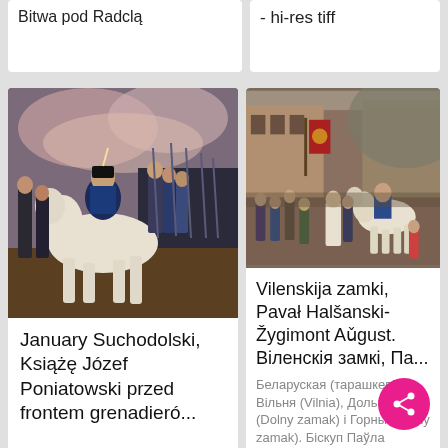Bitwa pod Radclą
- hi-res tiff
[Figure (illustration): Oil painting of January Suchodolski showing Prince Józef Poniatowski on a white horse leading soldiers in Napoleonic era military uniforms]
January Suchodolski, Książę Józef Poniatowski przed frontem grenadieró...
[Figure (illustration): Historical painting showing Vilnius castles scene with Pavał Halšanski and Žygimont Aǔgust, a procession with people and a white horse in a city setting]
Vilenskija zamki, Pavał Halšanski-Žygimont Aǔgust. Віленскія замкі, Па...
Беларуская (тарашкевіца): Вільня (Vilnia), Дольны (Dolny zamak) і Горны (Horny zamak). Біскуп Паўла Гальшанскага (Pavał